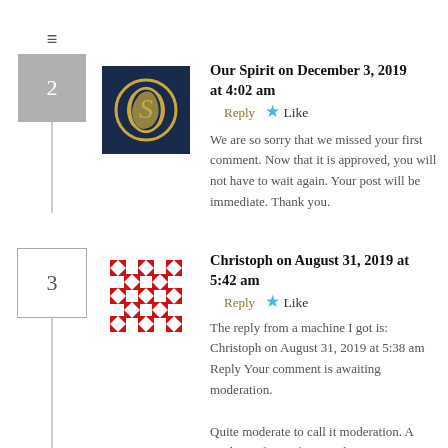Our Spirit on December 3, 2019 at 4:02 am  Reply  ★ Like
We are so sorry that we missed your first comment. Now that it is approved, you will not have to wait again. Your post will be immediate. Thank you.
Christoph on August 31, 2019 at 5:42 am  Reply  ★ Like
The reply from a machine I got is: Christoph on August 31, 2019 at 5:38 am Reply Your comment is awaiting moderation.

Quite moderate to call it moderation. A moderate form of censorship?